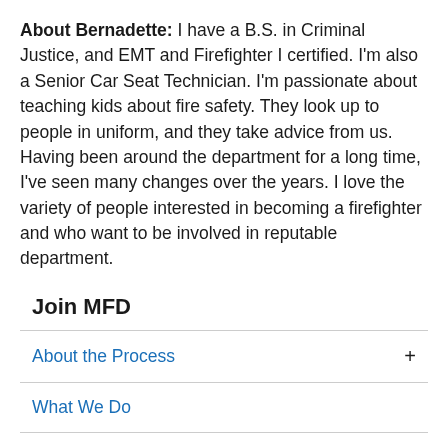About Bernadette: I have a B.S. in Criminal Justice, and EMT and Firefighter I certified. I'm also a Senior Car Seat Technician. I'm passionate about teaching kids about fire safety. They look up to people in uniform, and they take advice from us. Having been around the department for a long time, I've seen many changes over the years. I love the variety of people interested in becoming a firefighter and who want to be involved in reputable department.
Join MFD
About the Process
What We Do
Why MFD